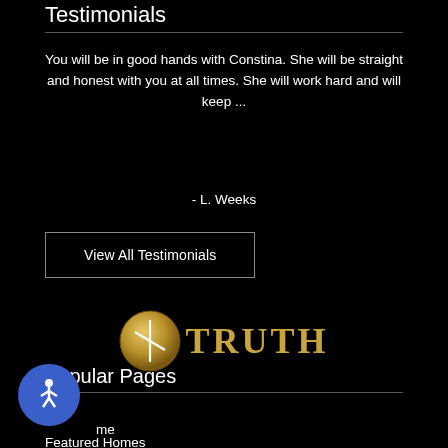Testimonials
You will be in good hands with Constina. She will be straight and honest with you at all times. She will work hard and will keep ...
- L. Weeks
View All Testimonials
[Figure (logo): Truth real estate logo: gold circle with white T symbol followed by TRUTH text in gold serif letters]
Popular Pages
[Figure (illustration): Blue circular accessibility/wheelchair icon button]
Home
Featured Homes